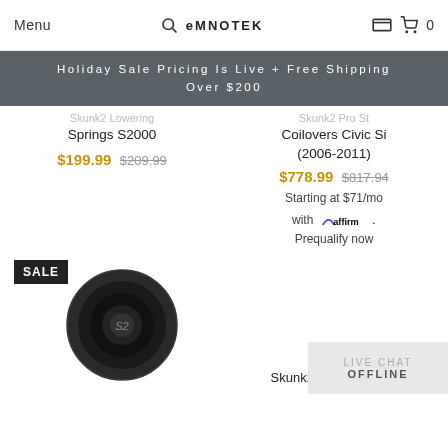Menu | EMNOTEK | 0
Holiday Sale Pricing Is Live + Free Shipping Over $200
Skunk2 Lowering Springs S2000 $199.99 $209.99
Skunk2 Pro St Coilovers Civic Si (2006-2011) $778.99 $817.94 Starting at $71/mo with affirm. Prequalify now
[Figure (photo): Black cylindrical automotive part (Skunk2 Honda/Acura) with SALE badge overlay]
Skunk2 Honda/Acura